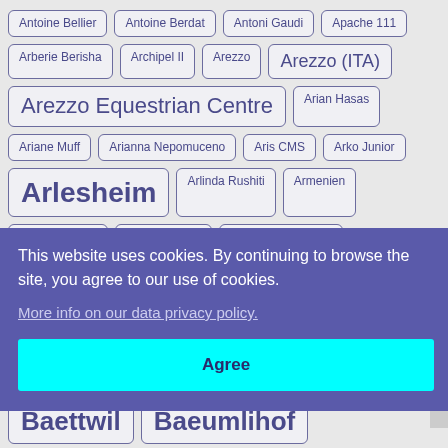Antoine Bellier
Antoine Berdat
Antoni Gaudi
Apache 111
Arberie Berisha
Archipel II
Arezzo
Arezzo (ITA)
Arezzo Equestrian Centre
Arian Hasas
Ariane Muff
Arianna Nepomuceno
Aris CMS
Arko Junior
Arlesheim
Arlinda Rushiti
Armenien
Armitages Boy
Arnaud Martin
Artem Alekseychuk
Arthur Neuhaus
This website uses cookies. By continuing to browse the site, you agree to our use of cookies.
More info on our data privacy policy.
Agree
Baettwil
Baeumlihof